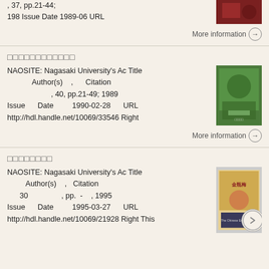, 37, pp.21-44; 198 Issue Date 1989-06 URL
More information →
□□□□□□□□□□□□
NAOSITE: Nagasaki University's Ac Title Author(s) , Citation , 40, pp.21-49; 1989 Issue Date 1990-02-28 URL http://hdl.handle.net/10069/33546 Right
More information →
□□□□□□□□
NAOSITE: Nagasaki University's Ac Title Author(s) , Citation 30 , pp. - , 1995 Issue Date 1995-03-27 URL http://hdl.handle.net/10069/21928 Right This